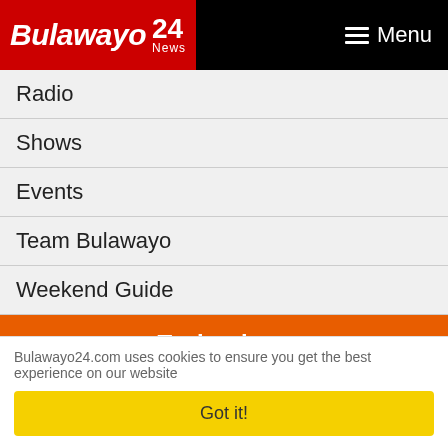Bulawayo 24 News — Menu
Radio
Shows
Events
Team Bulawayo
Weekend Guide
Technology
Motors
Camera
Internet
Mobile phone
Bulawayo24.com uses cookies to ensure you get the best experience on our website
Got it!